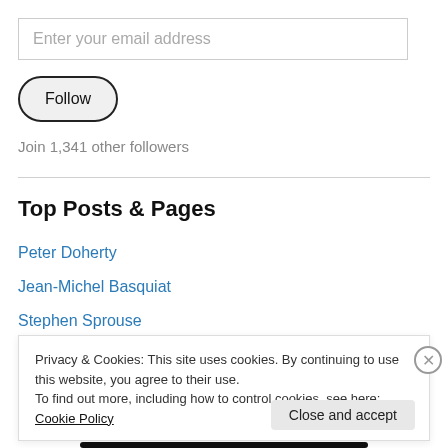[Figure (screenshot): Email input field with placeholder text 'Enter your email address']
[Figure (screenshot): Follow button with rounded pill shape]
Join 1,341 other followers
Top Posts & Pages
Peter Doherty
Jean-Michel Basquiat
Stephen Sprouse
Privacy & Cookies: This site uses cookies. By continuing to use this website, you agree to their use. To find out more, including how to control cookies, see here: Cookie Policy
Close and accept